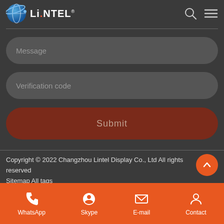[Figure (logo): Lintel company logo with globe icon and LINTEL text in white with red dot on i]
Message
Verification code
Submit
Copyright © 2022 Changzhou Lintel Display Co., Ltd All rights reserved
Sitemap All tags
WhatsApp  Skype  E-mail  Contact